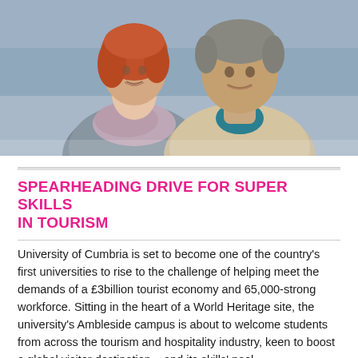[Figure (photo): Two smiling older adults, a woman with red hair wearing a scarf and a man in a beige jacket, photographed outdoors near water.]
SPEARHEADING DRIVE FOR SUPER SKILLS IN TOURISM
University of Cumbria is set to become one of the country's first universities to rise to the challenge of helping meet the demands of a £3billion tourist economy and 65,000-strong workforce. Sitting in the heart of a World Heritage site, the university's Ambleside campus is about to welcome students from across the tourism and hospitality industry, keen to boost a global visitor destination – and its skills' pool